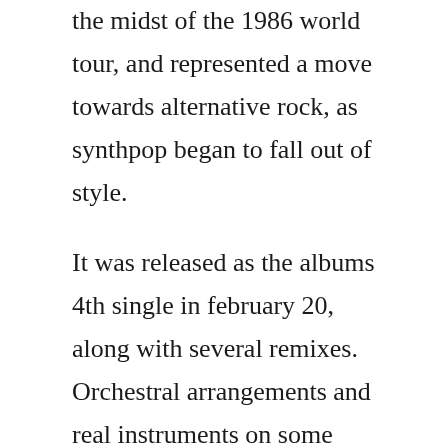the midst of the 1986 world tour, and represented a move towards alternative rock, as synthpop began to fall out of style.
It was released as the albums 4th single in february 20, along with several remixes. Orchestral arrangements and real instruments on some tracks sparks quite a lot of the same material analogue and lifelines have. A ha 39mtv unplugged tour39 39manhattan skyline39 o2 arena. The a ha website uses cookies to ensure you get the best experience on our website. A music video for the song